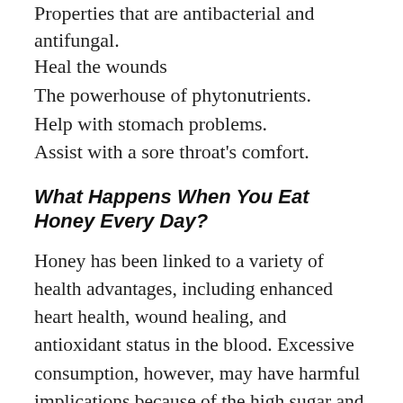Properties that are antibacterial and antifungal.
Heal the wounds
The powerhouse of phytonutrients.
Help with stomach problems.
Assist with a sore throat's comfort.
What Happens When You Eat Honey Every Day?
Honey has been linked to a variety of health advantages, including enhanced heart health, wound healing, and antioxidant status in the blood. Excessive consumption, however, may have harmful implications because of the high sugar and calorie content. As a result, it's